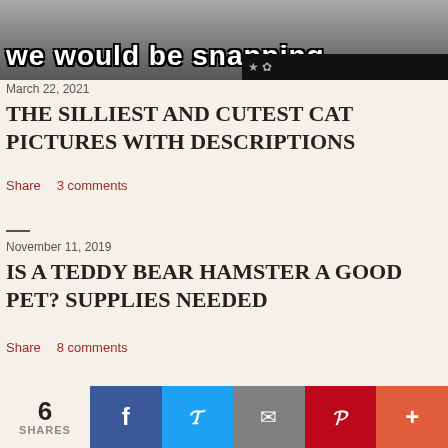[Figure (photo): Meme image with cat paws visible at top, text overlay reading 'we would be snapping' in white Impact font with black outline. Black bar at bottom right.]
March 22, 2021
THE SILLIEST AND CUTEST CAT PICTURES WITH DESCRIPTIONS
Share    3 comments
November 11, 2019
IS A TEDDY BEAR HAMSTER A GOOD PET? SUPPLIES NEEDED
Share    8 comments
November 20, 2019
6 SHARES  [Facebook] [Twitter] [Email] [Pinterest] [More]